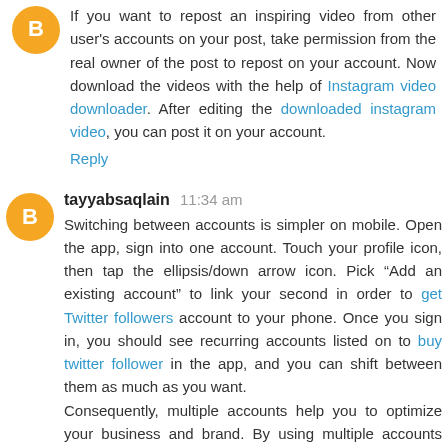If you want to repost an inspiring video from other user's accounts on your post, take permission from the real owner of the post to repost on your account. Now download the videos with the help of Instagram video downloader. After editing the downloaded instagram video, you can post it on your account.
Reply
tayyabsaqlain 11:34 am
Switching between accounts is simpler on mobile. Open the app, sign into one account. Touch your profile icon, then tap the ellipsis/down arrow icon. Pick "Add an existing account" to link your second in order to get Twitter followers account to your phone. Once you sign in, you should see recurring accounts listed on to buy twitter follower in the app, and you can shift between them as much as you want. Consequently, multiple accounts help you to optimize your business and brand. By using multiple accounts you can get Twitter followers.